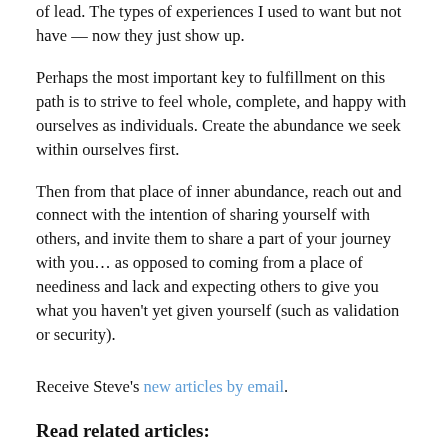of lead. The types of experiences I used to want but not have — now they just show up.
Perhaps the most important key to fulfillment on this path is to strive to feel whole, complete, and happy with ourselves as individuals. Create the abundance we seek within ourselves first.
Then from that place of inner abundance, reach out and connect with the intention of sharing yourself with others, and invite them to share a part of your journey with you… as opposed to coming from a place of neediness and lack and expecting others to give you what you haven't yet given yourself (such as validation or security).
Receive Steve's new articles by email.
Read related articles:
Open Relationships